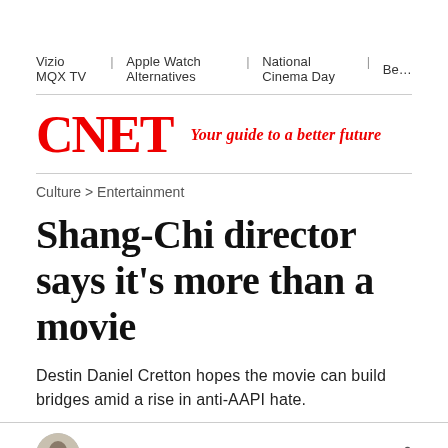Vizio MQX TV  |  Apple Watch Alternatives  |  National Cinema Day  |  Be...
CNET — Your guide to a better future
Culture > Entertainment
Shang-Chi director says it's more than a movie
Destin Daniel Cretton hopes the movie can build bridges amid a rise in anti-AAPI hate.
Roger Cheng  8 min read